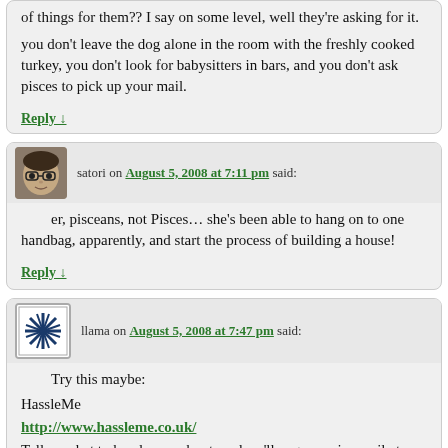of things for them?? I say on some level, well they're asking for it. you don't leave the dog alone in the room with the freshly cooked turkey, you don't look for babysitters in bars, and you don't ask pisces to pick up your mail.
Reply ↓
satori on August 5, 2008 at 7:11 pm said:
er, pisceans, not Pisces… she's been able to hang on to one handbag, apparently, and start the process of building a house!
Reply ↓
llama on August 5, 2008 at 7:47 pm said:
Try this maybe:
HassleMe
http://www.hassleme.co.uk/
Tell us what to hassle you about, and we'll nag you via email at semi-unpredictable intervals.
(it's free)
Reply ↓